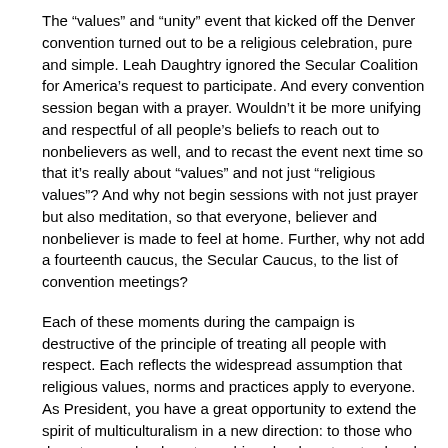The “values” and “unity” event that kicked off the Denver convention turned out to be a religious celebration, pure and simple. Leah Daughtry ignored the Secular Coalition for America’s request to participate. And every convention session began with a prayer. Wouldn’t it be more unifying and respectful of all people’s beliefs to reach out to nonbelievers as well, and to recast the event next time so that it’s really about “values” and not just “religious values”? And why not begin sessions with not just prayer but also meditation, so that everyone, believer and nonbeliever is made to feel at home. Further, why not add a fourteenth caucus, the Secular Caucus, to the list of convention meetings?
Each of these moments during the campaign is destructive of the principle of treating all people with respect. Each reflects the widespread assumption that religious values, norms and practices apply to everyone. As President, you have a great opportunity to extend the spirit of multiculturalism in a new direction: to those who do not pray, who do not worship, who do not go to church. We are cheered by your inauguration remarks, and ask you to keep on